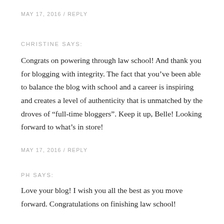MAY 17, 2016  /  REPLY
CHRISTINE SAYS:
Congrats on powering through law school! And thank you for blogging with integrity. The fact that you've been able to balance the blog with school and a career is inspiring and creates a level of authenticity that is unmatched by the droves of “full-time bloggers”. Keep it up, Belle! Looking forward to what’s in store!
MAY 17, 2016  /  REPLY
PH SAYS:
Love your blog! I wish you all the best as you move forward. Congratulations on finishing law school!